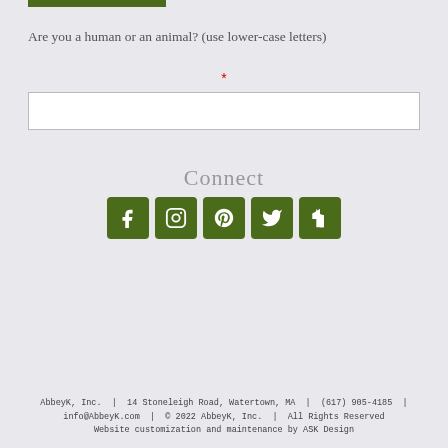[Figure (other): Green horizontal bar at the top left]
Are you a human or an animal? (use lower-case letters)
*
[Figure (other): Empty text input field]
Connect
[Figure (other): Row of 5 dark green social media icon buttons: Facebook, Instagram, Pinterest, Twitter, Houzz]
AbbeyK, Inc. | 14 Stoneleigh Road, Watertown, MA | (617) 905-4185 | info@AbbeyK.com | © 2022 AbbeyK, Inc. | All Rights Reserved Website customization and maintenance by ASK Design